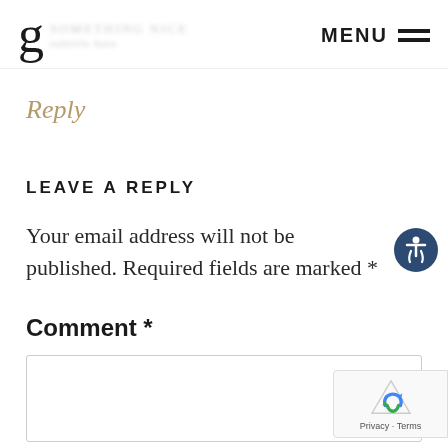MENU
Reply
LEAVE A REPLY
Your email address will not be published. Required fields are marked *
Comment *